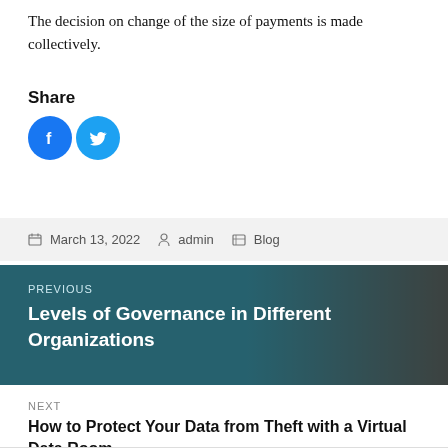The decision on change of the size of payments is made collectively.
Share
[Figure (illustration): Facebook and Twitter social sharing icons (blue circles with white logos)]
March 13, 2022   admin   Blog
PREVIOUS
Levels of Governance in Different Organizations
NEXT
How to Protect Your Data from Theft with a Virtual Data Room